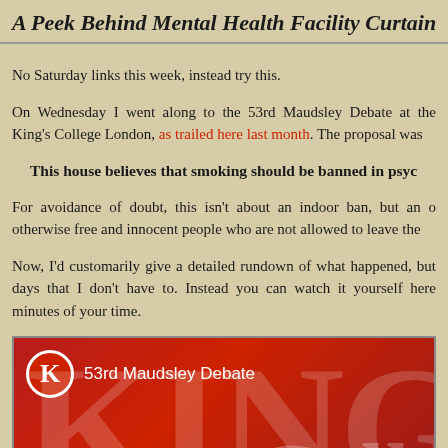A Peek Behind Mental Health Facility Curtain
No Saturday links this week, instead try this.
On Wednesday I went along to the 53rd Maudsley Debate at the King's College London, as trailed here last month. The proposal was
This house believes that smoking should be banned in psyc
For avoidance of doubt, this isn't about an indoor ban, but an o otherwise free and innocent people who are not allowed to leave the
Now, I'd customarily give a detailed rundown of what happened, but days that I don't have to. Instead you can watch it yourself here minutes of your time.
[Figure (screenshot): Video thumbnail for 53rd Maudsley Debate at King's College London, showing red background with King's College logo (K in red circle) and text '53rd Maudsley Debate', with large white letters 'KING' and partial 'Colle' visible]